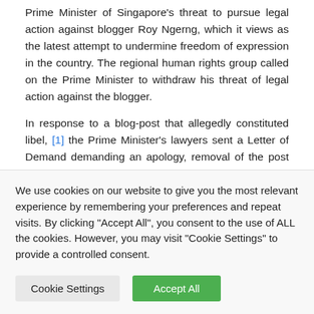Prime Minister of Singapore's threat to pursue legal action against blogger Roy Ngerng, which it views as the latest attempt to undermine freedom of expression in the country. The regional human rights group called on the Prime Minister to withdraw his threat of legal action against the blogger.
In response to a blog-post that allegedly constituted libel, [1] the Prime Minister's lawyers sent a Letter of Demand demanding an apology, removal of the post and payment for damages or face a defamation lawsuit. The blog subsequently took down the post and issued a letter apology on 23 May 2014 (Friday). The Prime Minister has however rejected the offer for no damages and given Mr.
We use cookies on our website to give you the most relevant experience by remembering your preferences and repeat visits. By clicking "Accept All", you consent to the use of ALL the cookies. However, you may visit "Cookie Settings" to provide a controlled consent.